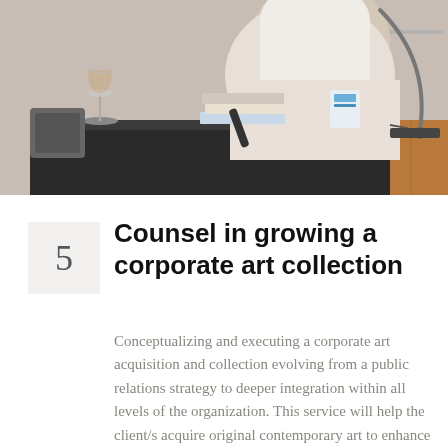[Figure (photo): A person in white clothing sitting at a dark table with a wine glass, books, a bottle of water, and other items on it. Warm wood paneling visible in the background.]
5  Counsel in growing a corporate art collection
Conceptualizing and executing a corporate art acquisition and collection evolving from a public relations strategy to deeper integration within all levels of the organization. This service will help the client/s acquire original contemporary art to enhance the work environment, communicate company culture and values, and reflect the philanthropic and socially